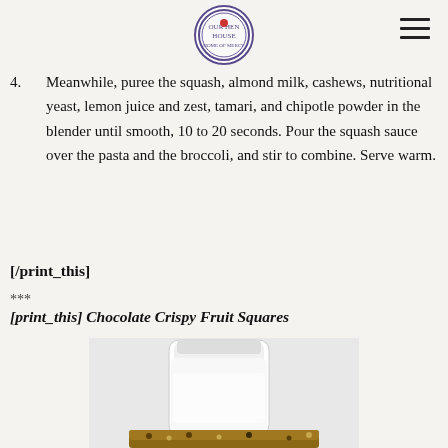[logo: Our Hen House] [hamburger menu]
4. Meanwhile, puree the squash, almond milk, cashews, nutritional yeast, lemon juice and zest, tamari, and chipotle powder in the blender until smooth, 10 to 20 seconds. Pour the squash sauce over the pasta and the broccoli, and stir to combine. Serve warm.
[/print_this]
***
[print_this] Chocolate Crispy Fruit Squares
[Figure (photo): A glass jar of milk next to a chocolate crispy fruit square bar on a light background]